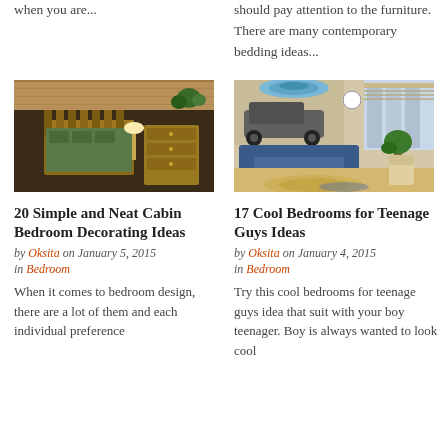when you are...
should pay attention to the furniture. There are many contemporary bedding ideas...
[Figure (photo): A rustic cabin bedroom with log furniture including a wooden bed frame and dresser with warm lighting]
[Figure (photo): A cool teenage boy's bedroom with blue sofa, circular ceiling fixture, car mural on wall, and large windows]
20 Simple and Neat Cabin Bedroom Decorating Ideas
by Oksita on January 5, 2015
in Bedroom
When it comes to bedroom design, there are a lot of them and each individual preference
17 Cool Bedrooms for Teenage Guys Ideas
by Oksita on January 4, 2015
in Bedroom
Try this cool bedrooms for teenage guys idea that suit with your boy teenager. Boy is always wanted to look cool